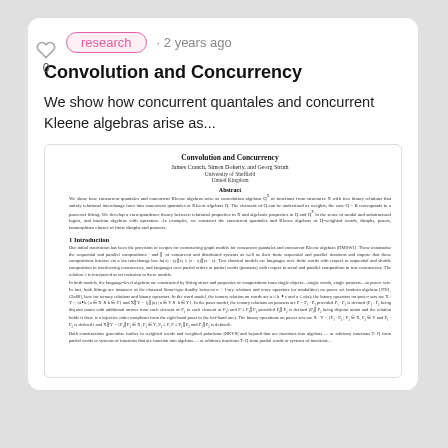research · 2 years ago
Convolution and Concurrency
We show how concurrent quantales and concurrent Kleene algebras arise as...
[Figure (other): Thumbnail preview of academic paper titled 'Convolution and Concurrency' by James Cranch, Simon Doherty, and Georg Struth, University of Sheffield, United Kingdom. Shows abstract and beginning of Introduction section. ArXiv label visible on left side: arXiv:2002.02321v1 [cs.LO] 6 Feb 2020.]